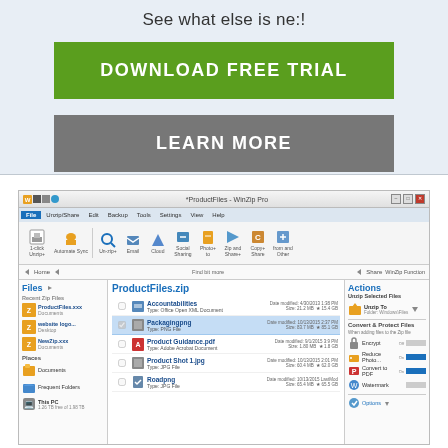See what else is ne:!
DOWNLOAD FREE TRIAL
LEARN MORE
[Figure (screenshot): WinZip Pro application screenshot showing ProductFiles.zip open with file listing including Accountabilities (Office Open XML Document), Packagingpng (PNG File, selected), Product Guidance.pdf (Adobe Acrobat Document), Product Shot 1.png (JPG File), Roadpng (JPG File). Left panel shows Files section with Recent Zip Files. Right panel shows Actions including Unzip Selected Files, Convert & Protect Files options.]